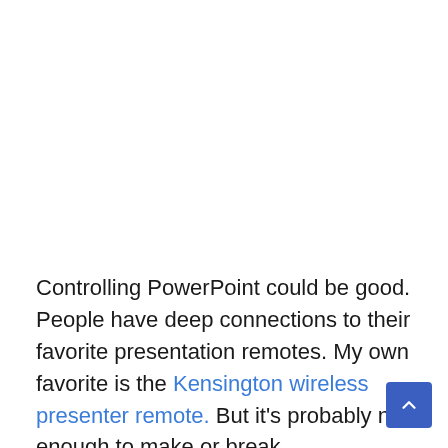Controlling PowerPoint could be good. People have deep connections to their favorite presentation remotes. My own favorite is the Kensington wireless presenter remote. But it's probably not enough to make or break the product.